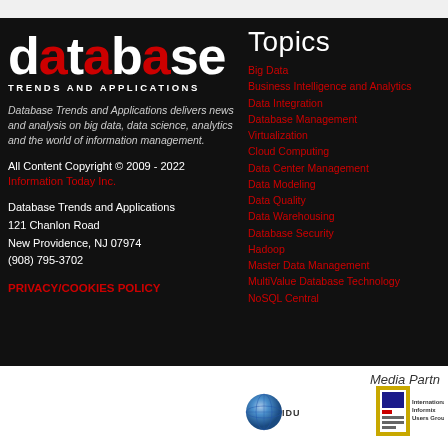[Figure (logo): Database Trends and Applications logo with large white 'database' text and red 'a' letters, subtitle 'TRENDS AND APPLICATIONS']
Database Trends and Applications delivers news and analysis on big data, data science, analytics and the world of information management.
All Content Copyright © 2009 - 2022
Information Today Inc.
Database Trends and Applications
121 Chanlon Road
New Providence, NJ 07974
(908) 795-3702
PRIVACY/COOKIES POLICY
Topics
Big Data
Business Intelligence and Analytics
Data Integration
Database Management
Virtualization
Cloud Computing
Data Center Management
Data Modeling
Data Quality
Data Warehousing
Database Security
Hadoop
Master Data Management
MultiValue Database Technology
NoSQL Central
Media Partn
[Figure (logo): IDUG globe logo with IDUG text]
[Figure (logo): International Informix Users Group logo]